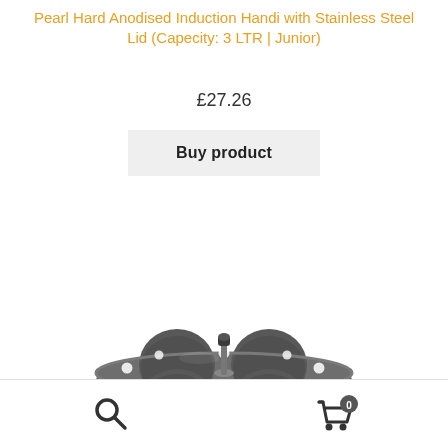Pearl Hard Anodised Induction Handi with Stainless Steel Lid (Capecity: 3 LTR | Junior)
£27.26
Buy product
[Figure (photo): Pearl Hard Anodised Induction Handi product - a round dark gray multi-tier idli steamer/handi with four circular depressions and a central knob handle, stacked trays visible]
Search icon and shopping cart icon with badge showing 0